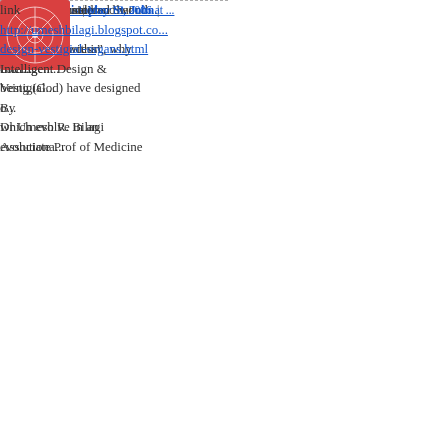more complicated and wond... was.
Posted by: Christopher St. John |
[Figure (illustration): Blue geometric mandala/snowflake pattern avatar image]
Have you considered that ev... or can occur within, Intelligen...
Since your genetic algorithm... "evolution process", why coul... being (God) have designed o... which evolve in an evolutiona...
- Taiwo
Posted by: Taiwo | May 18, 2006 at ...
[Figure (illustration): Red/pink geometric mandala/snowflake pattern avatar image]
link
http://umeshbilagi.blogspot.co... design-vestigial-organs.html
Intelligent Design & Vestigial...
By
Dr Umesh R. Bilagi
Associate Prof of Medicine